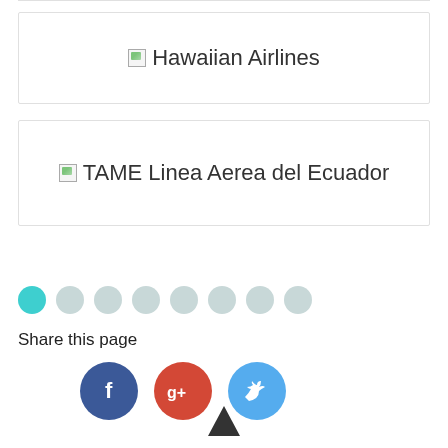[Figure (logo): Hawaiian Airlines logo card with broken image icon and text 'Hawaiian Airlines']
[Figure (logo): TAME Linea Aerea del Ecuador logo card with broken image icon and text 'TAME Linea Aerea del Ecuador']
[Figure (infographic): Pagination dots row: one teal filled dot followed by seven light gray dots]
Share this page
[Figure (infographic): Social share buttons: Facebook (dark blue circle with 'f'), Google+ (red circle with 'g+'), Twitter (light blue circle with bird icon)]
[Figure (other): Up-arrow / back-to-top icon at the bottom center]